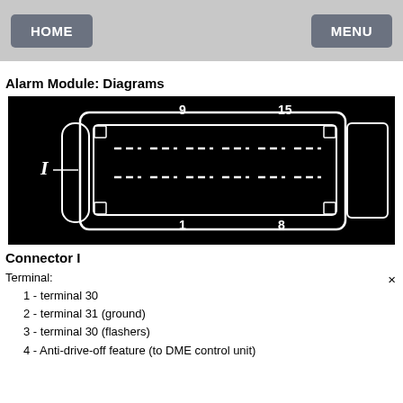HOME   MENU
Alarm Module: Diagrams
[Figure (engineering-diagram): Black background diagram of an electrical connector labeled 'I', showing a rectangular multi-pin connector with terminal positions numbered 1, 8, 9, 15]
Connector I
Terminal:
1 - terminal 30
2 - terminal 31 (ground)
3 - terminal 30 (flashers)
4 - Anti-drive-off feature (to DME control unit)